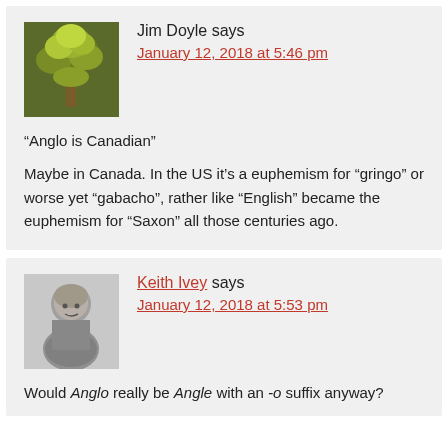Jim Doyle says
January 12, 2018 at 5:46 pm
“Anglo is Canadian”
Maybe in Canada. In the US it’s a euphemism for “gringo” or worse yet “gabacho”, rather like “English” became the euphemism for “Saxon” all those centuries ago.
Keith Ivey says
January 12, 2018 at 5:53 pm
Would Anglo really be Angle with an -o suffix anyway?